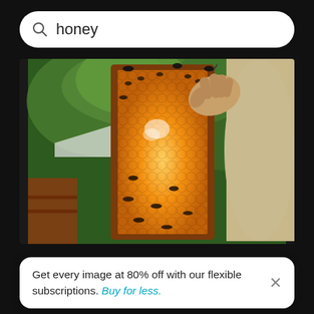honey
[Figure (photo): A beekeeper holding up a honeycomb frame covered with bees and golden honey, with green trees in the background.]
Get every image at 80% off with our flexible subscriptions. Buy for less.